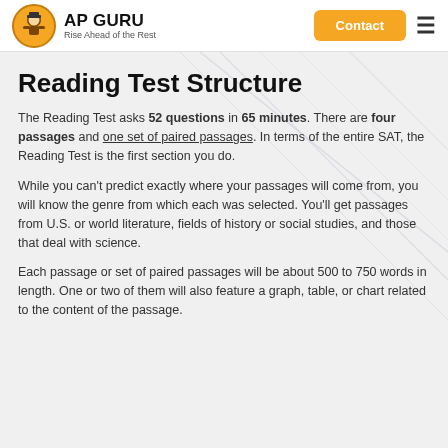AP GURU — Rise Ahead of the Rest | Contact
Reading Test Structure
The Reading Test asks 52 questions in 65 minutes. There are four passages and one set of paired passages. In terms of the entire SAT, the Reading Test is the first section you do.
While you can't predict exactly where your passages will come from, you will know the genre from which each was selected. You'll get passages from U.S. or world literature, fields of history or social studies, and those that deal with science.
Each passage or set of paired passages will be about 500 to 750 words in length. One or two of them will also feature a graph, table, or chart related to the content of the passage.